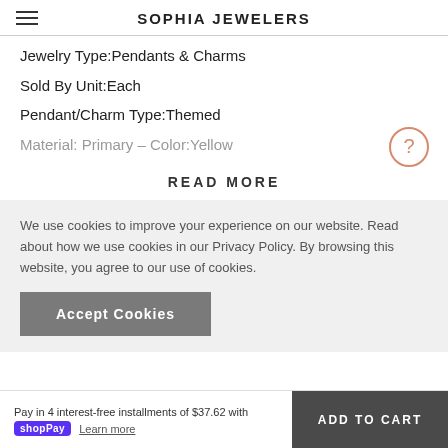SOPHIA JEWELERS
Jewelry Type:Pendants & Charms
Sold By Unit:Each
Pendant/Charm Type:Themed
Material: Primary – Color:Yellow
READ MORE
We use cookies to improve your experience on our website. Read about how we use cookies in our Privacy Policy. By browsing this website, you agree to our use of cookies.
Accept Cookies
Pay in 4 interest-free installments of $37.62 with shopPay Learn more  ADD TO CART